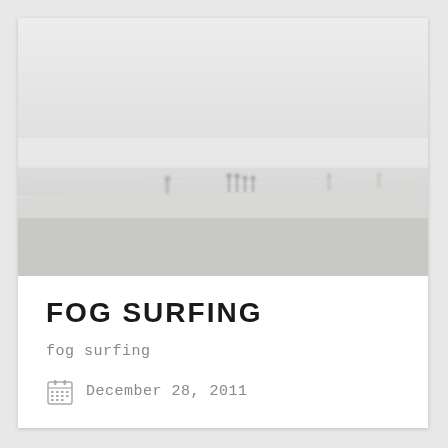[Figure (photo): Foggy beach scene with silhouettes of people standing near the shoreline, very misty and low-visibility conditions, grey-white tones throughout]
FOG SURFING
fog surfing
December 28, 2011